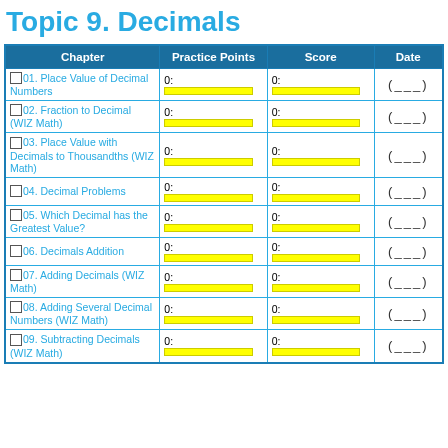Topic 9. Decimals
| Chapter | Practice Points | Score | Date |
| --- | --- | --- | --- |
| 01. Place Value of Decimal Numbers | 0: | 0: | (___) |
| 02. Fraction to Decimal (WIZ Math) | 0: | 0: | (___) |
| 03. Place Value with Decimals to Thousandths (WIZ Math) | 0: | 0: | (___) |
| 04. Decimal Problems | 0: | 0: | (___) |
| 05. Which Decimal has the Greatest Value? | 0: | 0: | (___) |
| 06. Decimals Addition | 0: | 0: | (___) |
| 07. Adding Decimals (WIZ Math) | 0: | 0: | (___) |
| 08. Adding Several Decimal Numbers (WIZ Math) | 0: | 0: | (___) |
| 09. Subtracting Decimals (WIZ Math) | 0: | 0: | (___) |